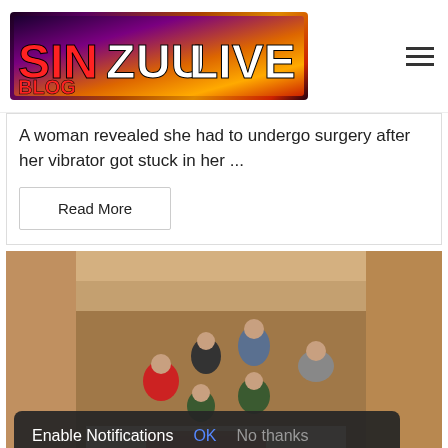[Figure (logo): SINZUULIVE BLOG logo with red and white text on dark gradient background]
A woman revealed she had to undergo surgery after her vibrator got stuck in her ...
Read More
[Figure (photo): Group of people sitting in an archaeological excavation site, posing for a photo in a dirt pit]
Enable Notifications  OK  No thanks